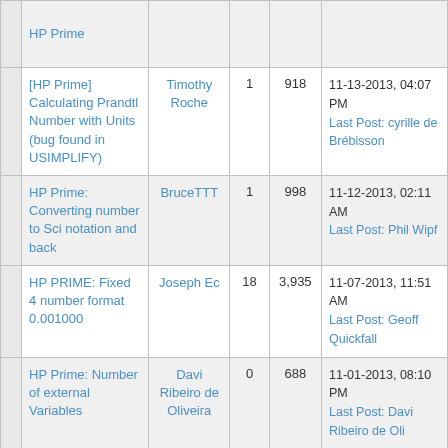|  | Thread | Author | Replies | Views | Last Post |
| --- | --- | --- | --- | --- | --- |
|  | HP Prime |  |  |  |  |
|  | [HP Prime] Calculating Prandtl Number with Units (bug found in USIMPLIFY) | Timothy Roche | 1 | 918 | 11-13-2013, 04:07 PM
Last Post: cyrille de Brébisson |
|  | HP Prime: Converting number to Sci notation and back | BruceTTT | 1 | 998 | 11-12-2013, 02:11 AM
Last Post: Phil Wipf |
|  | HP PRIME: Fixed 4 number format 0.001000 | Joseph Ec | 18 | 3,935 | 11-07-2013, 11:51 AM
Last Post: Geoff Quickfall |
|  | HP Prime: Number of external Variables | Davi Ribeiro de Oliveira | 0 | 688 | 11-01-2013, 08:10 PM
Last Post: Davi Ribeiro de Oliveira |